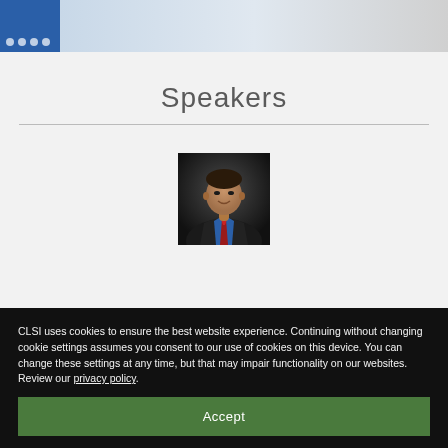CLSI header with logo
Speakers
[Figure (photo): Headshot portrait of a male speaker wearing a black suit with a blue shirt and red tie, dark background]
CLSI uses cookies to ensure the best website experience. Continuing without changing cookie settings assumes you consent to our use of cookies on this device. You can change these settings at any time, but that may impair functionality on our websites. Review our privacy policy.
Accept